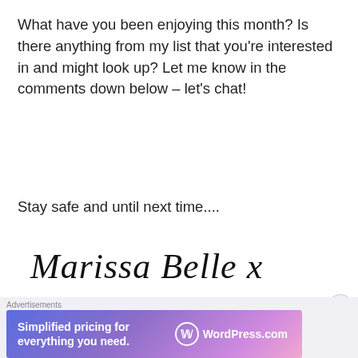What have you been enjoying this month? Is there anything from my list that you're interested in and might look up? Let me know in the comments down below – let's chat!
Stay safe and until next time....
Marissa Belle x
Advertisements
[Figure (illustration): Advertisement banner with light blue background showing three circular icons with door, dome/robot, and server imagery with sparkle stars]
Advertisements
[Figure (illustration): WordPress.com advertisement banner with purple/pink gradient showing text 'Simplified pricing for everything you need.' and WordPress.com logo]